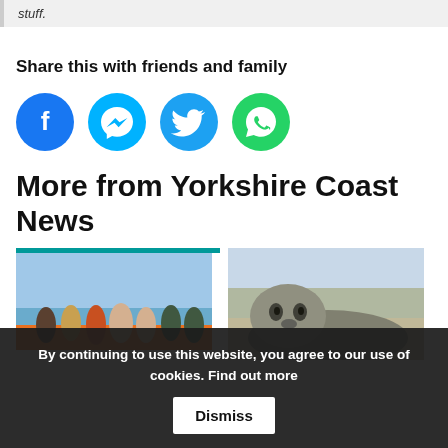stuff.
Share this with friends and family
[Figure (infographic): Social share buttons: Facebook (blue circle), Messenger (cyan circle), Twitter (blue circle), WhatsApp (green circle)]
More from Yorkshire Coast News
[Figure (photo): Group of people on an orange lifeboat with blue sky background]
[Figure (photo): Close-up of a seal on sandy beach]
By continuing to use this website, you agree to our use of cookies. Find out more